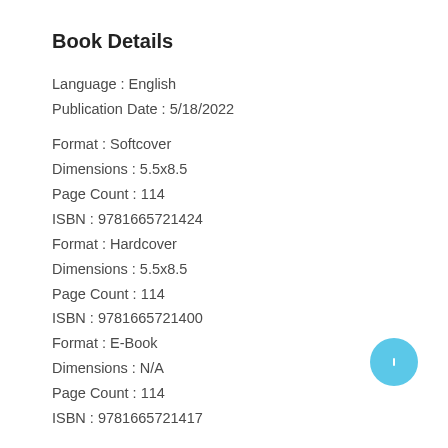Book Details
Language : English
Publication Date : 5/18/2022
Format : Softcover
Dimensions : 5.5x8.5
Page Count : 114
ISBN : 9781665721424
Format : Hardcover
Dimensions : 5.5x8.5
Page Count : 114
ISBN : 9781665721400
Format : E-Book
Dimensions : N/A
Page Count : 114
ISBN : 9781665721417